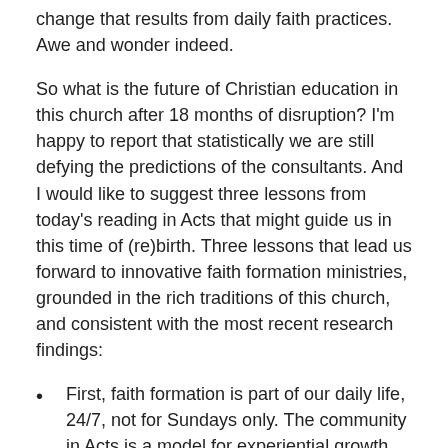change that results from daily faith practices. Awe and wonder indeed.
So what is the future of Christian education in this church after 18 months of disruption? I'm happy to report that statistically we are still defying the predictions of the consultants. And I would like to suggest three lessons from today's reading in Acts that might guide us in this time of (re)birth. Three lessons that lead us forward to innovative faith formation ministries, grounded in the rich traditions of this church, and consistent with the most recent research findings:
First, faith formation is part of our daily life, 24/7, not for Sundays only. The community in Acts is a model for experiential growth and learning through daily practices prayer, studying scripture, giving thanks, and living in community with one another. Our email devotionals, the kuc.org, and